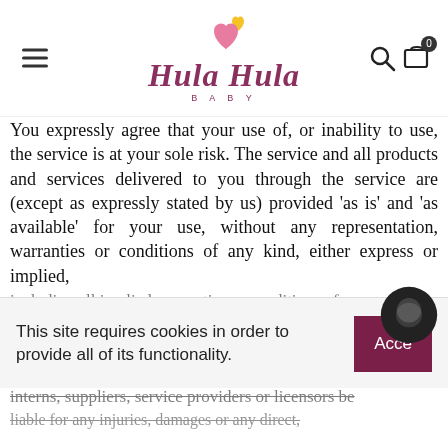Hula Hula Baby
You expressly agree that your use of, or inability to use, the service is at your sole risk. The service and all products and services delivered to you through the service are (except as expressly stated by us) provided 'as is' and 'as available' for your use, without any representation, warranties or conditions of any kind, either express or implied, including all implied warranties or conditions of
This site requires cookies in order to provide all of its functionality.
interns, suppliers, service providers or licensors be liable for any injuries, damages or any direct,